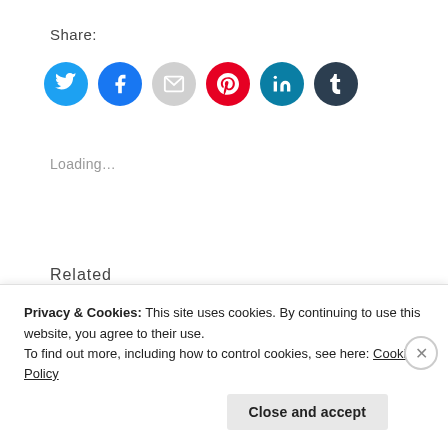Share:
[Figure (infographic): Six social media sharing icon circles: Twitter (cyan), Facebook (blue), Email/mail (light gray), Pinterest (red), LinkedIn (teal), Tumblr (dark navy)]
Loading...
Related
February 2014: Clarity
February 2, 2014
2022-05 Creativity
May 1, 2022
Privacy & Cookies: This site uses cookies. By continuing to use this website, you agree to their use.
To find out more, including how to control cookies, see here: Cookie Policy
Close and accept